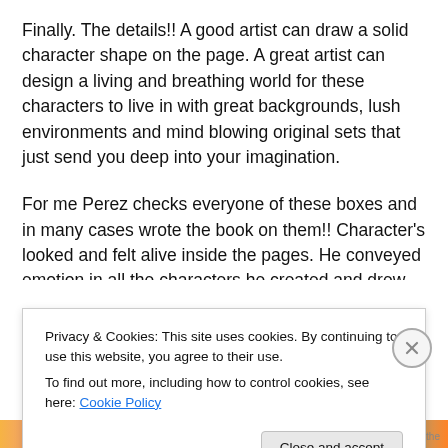Finally. The details!! A good artist can draw a solid character shape on the page. A great artist can design a living and breathing world for these characters to live in with great backgrounds, lush environments and mind blowing original sets that just send you deep into your imagination.
For me Perez checks everyone of these boxes and in many cases wrote the book on them!! Character's looked and felt alive inside the pages. He conveyed emotion in all the characters he created and drew and for that 15
Privacy & Cookies: This site uses cookies. By continuing to use this website, you agree to their use.
To find out more, including how to control cookies, see here: Cookie Policy
Close and accept